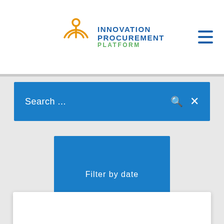[Figure (logo): Innovation Procurement Platform logo with circular orange icon and blue/green text]
Search ...
Filter by date
✕  CLEAR ALL FILTERS